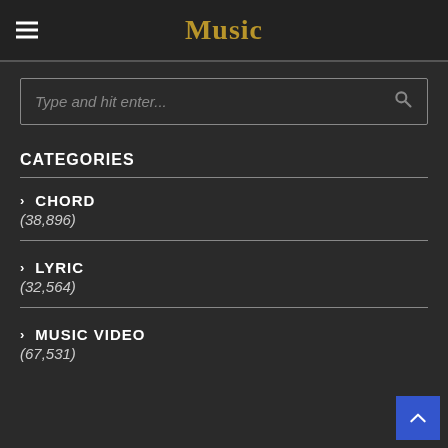Music
Type and hit enter...
CATEGORIES
> CHORD (38,896)
> LYRIC (32,564)
> MUSIC VIDEO (67,531)